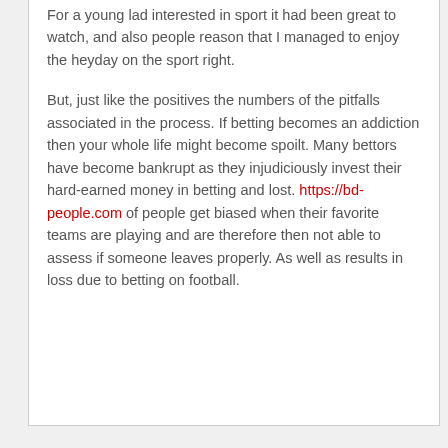For a young lad interested in sport it had been great to watch, and also people reason that I managed to enjoy the heyday on the sport right.
But, just like the positives the numbers of the pitfalls associated in the process. If betting becomes an addiction then your whole life might become spoilt. Many bettors have become bankrupt as they injudiciously invest their hard-earned money in betting and lost. https://bd-people.com of people get biased when their favorite teams are playing and are therefore then not able to assess if someone leaves properly. As well as results in loss due to betting on football.